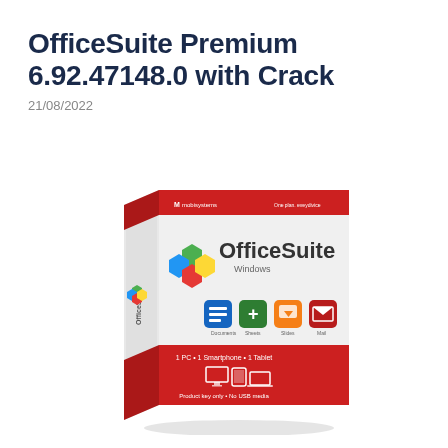OfficeSuite Premium 6.92.47148.0 with Crack
21/08/2022
[Figure (illustration): OfficeSuite Premium product box with red and white design, showing the OfficeSuite logo with colored hexagons, Windows edition label, app icons for Documents, Sheets, Slides, and Mail, and bottom section showing 1 PC, 1 Smartphone, 1 Tablet device icons with MobiSystems branding.]